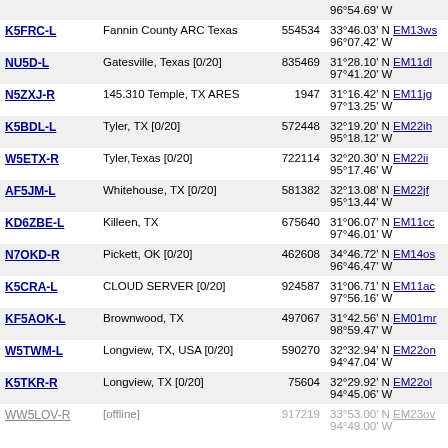| Callsign | Location | Node | Coordinates | Dist |
| --- | --- | --- | --- | --- |
|  |  |  | 96°54.69' W |  |
| K5FRC-L | Fannin County ARC Texas | 554534 | 33°46.03' N EM13ws
96°07.42' W | 83.6 |
| NU5D-L | Gatesville, Texas [0/20] | 835469 | 31°28.10' N EM11dl
97°41.20' W | 104.1 |
| N5ZXJ-R | 145.310 Temple, TX ARES | 1947 | 31°16.42' N EM11jg
97°13.25' W | 112.3 |
| K5BDL-L | Tyler, TX [0/20] | 572448 | 32°19.20' N EM22ih
95°18.12' W | 113.4 |
| W5ETX-R | Tyler,Texas [0/20] | 722114 | 32°20.30' N EM22ii
95°17.46' W | 113.6 |
| AF5JM-L | Whitehouse, TX [0/20] | 581382 | 32°13.08' N EM22jf
95°13.44' W | 120.3 |
| KD6ZBE-L | Killeen, TX | 675640 | 31°06.07' N EM11cc
97°46.01' W | 129.7 |
| N7OKD-R | Pickett, OK [0/20] | 462608 | 34°46.72' N EM14os
96°46.47' W | 131.8 |
| K5CRA-L | CLOUD SERVER [0/20] | 924587 | 31°06.71' N EM11ac
97°56.16' W | 132.3 |
| KF5AOK-L | Brownwood, TX | 497067 | 31°42.56' N EM01mr
98°59.47' W | 136.5 |
| W5TWM-L | Longview, TX, USA [0/20] | 590270 | 32°32.94' N EM22on
94°47.04' W | 138.3 |
| K5TKR-R | Longview, TX [0/20] | 75604 | 32°29.92' N EM22ol
94°45.06' W | 140.9 |
| WW5LOV-R | [offline] | 917219 | 33°53.00' N EM23ov
94°49.00' W | 149.8 |